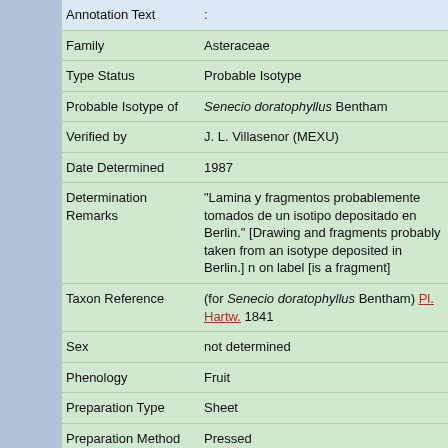| Field | Value |
| --- | --- |
| Annotation Text | : |
| Family | Asteraceae |
| Type Status | Probable Isotype |
| Probable Isotype of | Senecio doratophyllus Bentham |
| Verified by | J. L. Villasenor (MEXU) |
| Date Determined | 1987 |
| Determination Remarks | "Lamina y fragmentos probablemente tomados de un isotipo depositado en Berlin." [Drawing and fragments probably taken from an isotype deposited in Berlin.] n on label [is a fragment] |
| Taxon Reference | (for Senecio doratophyllus Bentham) Pl. Hartw. 1841 |
| Sex | not determined |
| Phenology | Fruit |
| Preparation Type | Sheet |
| Preparation Method | Pressed |
| Item Remarks | Drawing of type and possible type fragment. "This dr was made from Hartweg's no 594specimen in herb. N bot. Berol. The fragmentary material in packet is, how |